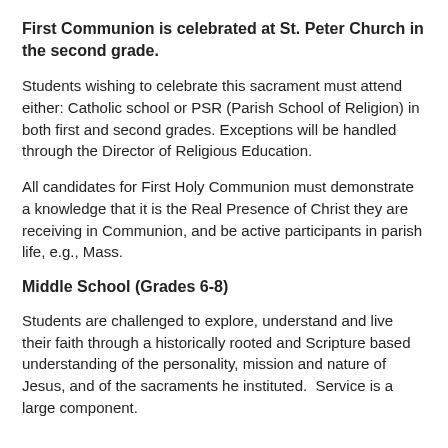First Communion is celebrated at St. Peter Church in the second grade.
Students wishing to celebrate this sacrament must attend either: Catholic school or PSR (Parish School of Religion) in both first and second grades. Exceptions will be handled through the Director of Religious Education.
All candidates for First Holy Communion must demonstrate a knowledge that it is the Real Presence of Christ they are receiving in Communion, and be active participants in parish life, e.g., Mass.
Middle School (Grades 6-8)
Students are challenged to explore, understand and live their faith through a historically rooted and Scripture based understanding of the personality, mission and nature of Jesus, and of the sacraments he instituted.  Service is a large component.